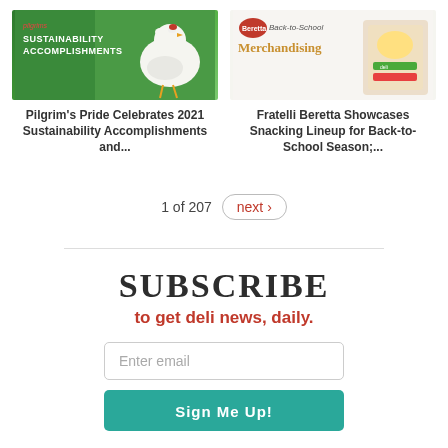[Figure (photo): Pilgrim's Pride sustainability accomplishments promotional image showing a white chicken on a green background with text 'Sustainability Accomplishments']
Pilgrim's Pride Celebrates 2021 Sustainability Accomplishments and...
[Figure (photo): Fratelli Beretta back-to-school merchandising promotional image with logo and text 'Back-to-School Merchandising']
Fratelli Beretta Showcases Snacking Lineup for Back-to-School Season;...
1 of 207   next ›
SUBSCRIBE
to get deli news, daily.
Enter email
Sign Me Up!